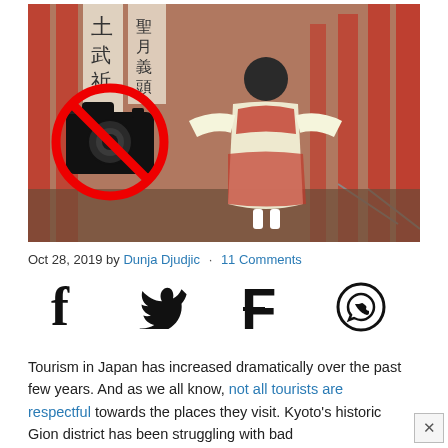[Figure (photo): Photo of a child in a red kimono walking among red torii gates, with a no-photography symbol (red circle with diagonal line over a camera icon) overlaid on the left side of the image.]
Oct 28, 2019 by Dunja Djudjic · 11 Comments
[Figure (other): Social media sharing icons: Facebook (f), Twitter (bird), Flipboard (F), WhatsApp (phone in circle)]
Tourism in Japan has increased dramatically over the past few years. And as we all know, not all tourists are respectful towards the places they visit. Kyoto's historic Gion district has been struggling with bad